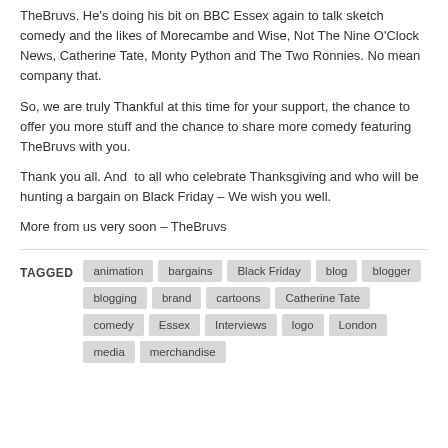TheBruvs. He's doing his bit on BBC Essex again to talk sketch comedy and the likes of Morecambe and Wise, Not The Nine O'Clock News, Catherine Tate, Monty Python and The Two Ronnies. No mean company that.
So, we are truly Thankful at this time for your support, the chance to offer you more stuff and the chance to share more comedy featuring TheBruvs with you.
Thank you all. And  to all who celebrate Thanksgiving and who will be hunting a bargain on Black Friday – We wish you well.
More from us very soon – TheBruvs
TAGGED: animation, bargains, Black Friday, blog, blogger, blogging, brand, cartoons, Catherine Tate, comedy, Essex, Interviews, logo, London, media, merchandise